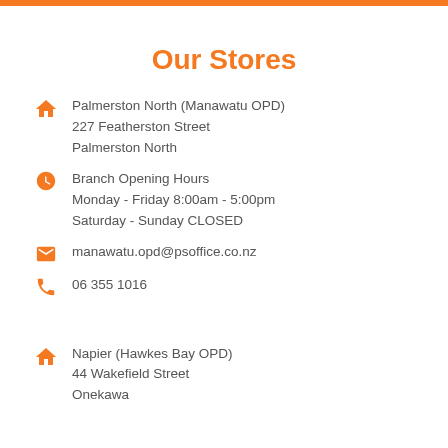Our Stores
Palmerston North (Manawatu OPD)
227 Featherston Street
Palmerston North
Branch Opening Hours
Monday - Friday 8:00am - 5:00pm
Saturday - Sunday CLOSED
manawatu.opd@psoffice.co.nz
06 355 1016
Napier (Hawkes Bay OPD)
44 Wakefield Street
Onekawa